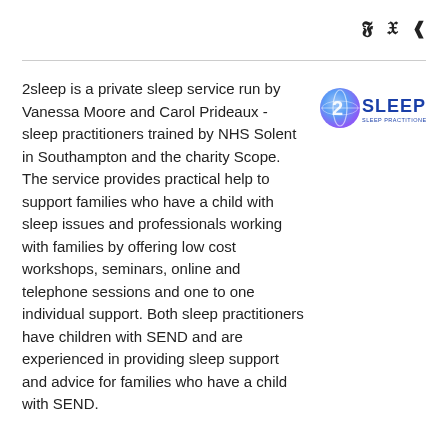social share icons: twitter, facebook, share
2sleep is a private sleep service run by Vanessa Moore and Carol Prideaux - sleep practitioners trained by NHS Solent in Southampton and the charity Scope. The service provides practical help to support families who have a child with sleep issues and professionals working with families by offering low cost workshops, seminars, online and telephone sessions and one to one individual support. Both sleep practitioners have children with SEND and are experienced in providing sleep support and advice for families who have a child with SEND.
[Figure (logo): 2SLEEP logo with stylized '2' globe icon in blue and purple gradient, with text '2SLEEP' in blue and subtitle 'SLEEP PRACTITIONERS']